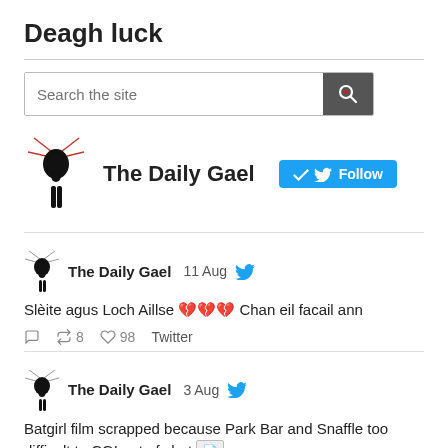Deagh luck
[Figure (screenshot): Search bar with placeholder text 'Search the site' and a dark grey button with a red magnifying glass icon]
[Figure (logo): The Daily Gael profile section with deer logo, bold name 'The Daily Gael', and a blue Twitter Follow button]
The Daily Gael 11 Aug [Twitter bird icon]
Slèite agus Loch Aillse 💔💔💔 Chan eil facail ann
[reply icon] [retweet icon] 8 [heart icon] 98 Twitter
The Daily Gael 3 Aug [Twitter bird icon]
Batgirl film scrapped because Park Bar and Snaffle too difficult to CGI out of shot [document icon]